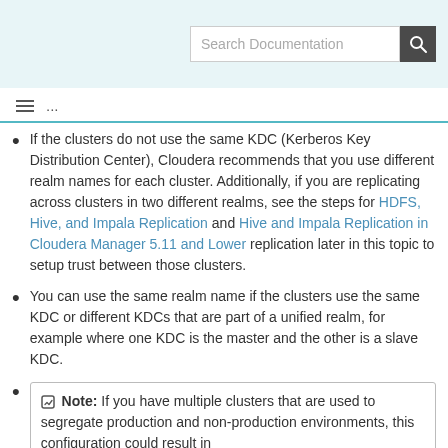Search Documentation
If the clusters do not use the same KDC (Kerberos Key Distribution Center), Cloudera recommends that you use different realm names for each cluster. Additionally, if you are replicating across clusters in two different realms, see the steps for HDFS, Hive, and Impala Replication and Hive and Impala Replication in Cloudera Manager 5.11 and Lower replication later in this topic to setup trust between those clusters.
You can use the same realm name if the clusters use the same KDC or different KDCs that are part of a unified realm, for example where one KDC is the master and the other is a slave KDC.
Note: If you have multiple clusters that are used to segregate production and non-production environments, this configuration could result in